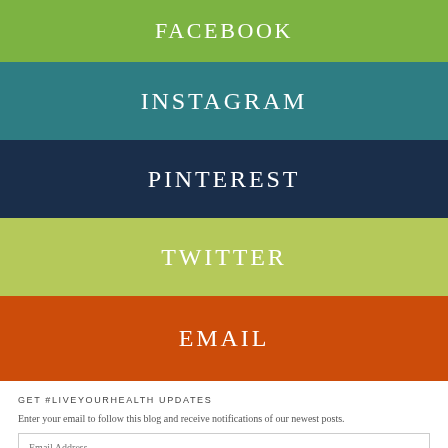[Figure (infographic): Social media links as colored horizontal banners: FACEBOOK (green), INSTAGRAM (teal), PINTEREST (navy), TWITTER (light green), EMAIL (orange-red)]
GET #LIVEYOURHEALTH UPDATES
Enter your email to follow this blog and receive notifications of our newest posts.
Email Address